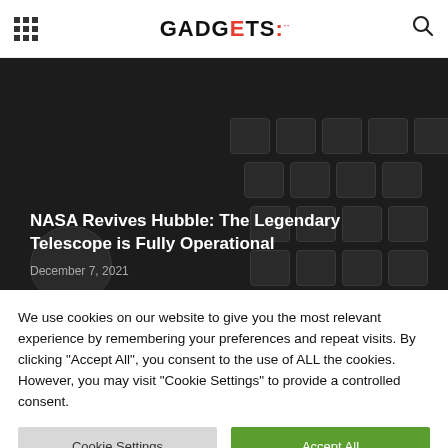GADGETS
[Figure (screenshot): Dark hero image with keyboard background showing article: NASA Revives Hubble: The Legendary Telescope is Fully Operational, dated December 7, 2021. Below shows POPULAR POSTS section heading and partial article strip with Quest 2 Link Cable – Virtual Reality title.]
NASA Revives Hubble: The Legendary Telescope is Fully Operational
December 7, 2021
POPULAR POSTS
Quest 2 Link Cable – Virtual Reality
We use cookies on our website to give you the most relevant experience by remembering your preferences and repeat visits. By clicking "Accept All", you consent to the use of ALL the cookies. However, you may visit "Cookie Settings" to provide a controlled consent.